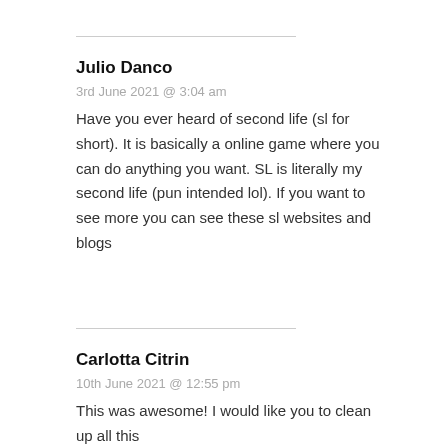Julio Danco
3rd June 2021 @ 3:04 am
Have you ever heard of second life (sl for short). It is basically a online game where you can do anything you want. SL is literally my second life (pun intended lol). If you want to see more you can see these sl websites and blogs
Carlotta Citrin
10th June 2021 @ 12:55 pm
This was awesome! I would like you to clean up all this